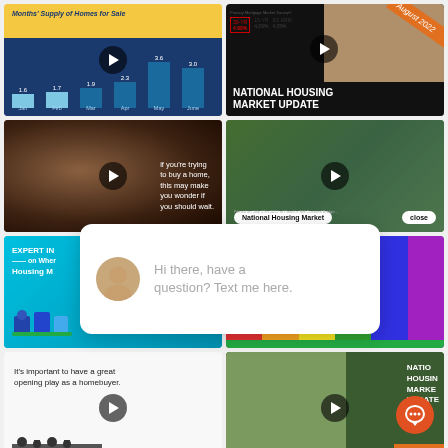[Figure (screenshot): Video thumbnail showing a bar chart titled 'Months' Supply of Homes for Sale' with bars for Jan through June with values 1.6, 1.7, 1.9, 2.3, 3.6, 3.0, with a play button overlay]
[Figure (screenshot): Video thumbnail for 'National Housing Market Update' August 2022, featuring a woman with blonde hair, orange diagonal banner, and mortgage rate data table at top]
[Figure (screenshot): Video thumbnail showing a man with glasses and text overlay: 'If you're trying to buy a home, this may make you wonder if you should wait.']
[Figure (screenshot): Video thumbnail showing a woman at a covered bridge with 'National Housing Market' label and 'close' button]
[Figure (screenshot): Video thumbnail with teal background showing 'EXPERT IN... on Wher... Housing M...' text with 3D house icons]
[Figure (screenshot): Video thumbnail with colorful striped background (partial, mostly obscured by chat overlay)]
Hi there, have a question? Text me here.
[Figure (screenshot): Video thumbnail with white background showing chess pieces and text 'It's important to have a great opening play as a homebuyer.']
[Figure (screenshot): Video thumbnail showing woman and text 'NATIONAL HOUSING MARKET UPDATE' with orange banner]